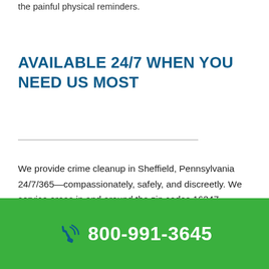the painful physical reminders.
AVAILABLE 24/7 WHEN YOU NEED US MOST
We provide crime cleanup in Sheffield, Pennsylvania 24/7/365—compassionately, safely, and discreetly. We service areas in and around the zip codes 16347,
800-991-3645